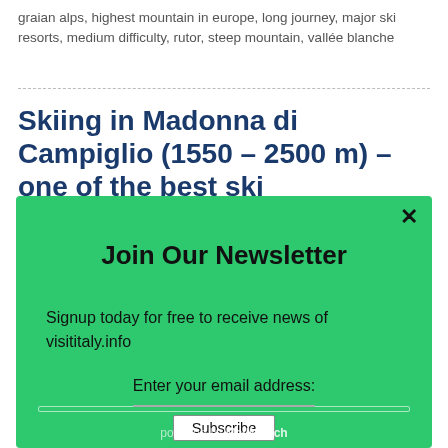graian alps, highest mountain in europe, long journey, major ski resorts, medium difficulty, rutor, steep mountain, vallée blanche
Skiing in Madonna di Campiglio (1550 – 2500 m) – one of the best ski experiences in Brenta Dolomites
December 15, 2013 • Julius Szabo  Skiing and Snow
[Figure (screenshot): Newsletter signup modal overlay with green background. Contains title 'Join Our Newsletter', description text 'Signup today for free to receive news of visititaly.info', an email input field, Subscribe button, and 'powered by MailMunch' footer. Close button (x) in top right corner.]